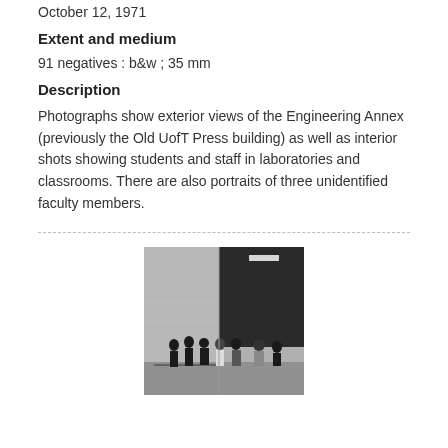October 12, 1971
Extent and medium
91 negatives : b&w ; 35 mm
Description
Photographs show exterior views of the Engineering Annex (previously the Old UofT Press building) as well as interior shots showing students and staff in laboratories and classrooms. There are also portraits of three unidentified faculty members.
[Figure (photo): Black and white photograph showing a group of people standing in front of the Engineering Annex building entrance.]